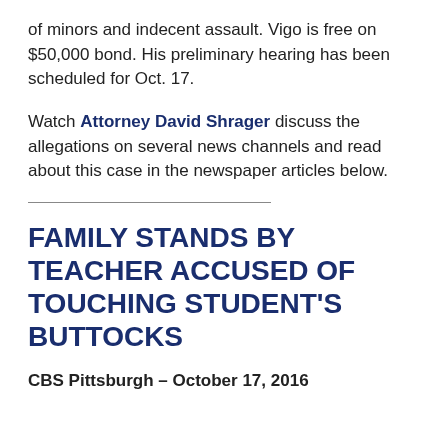of minors and indecent assault. Vigo is free on $50,000 bond. His preliminary hearing has been scheduled for Oct. 17.
Watch Attorney David Shrager discuss the allegations on several news channels and read about this case in the newspaper articles below.
FAMILY STANDS BY TEACHER ACCUSED OF TOUCHING STUDENT'S BUTTOCKS
CBS Pittsburgh – October 17, 2016